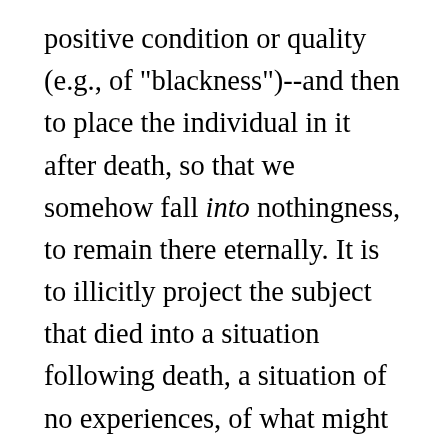positive condition or quality (e.g., of "blackness")--and then to place the individual in it after death, so that we somehow fall into nothingness, to remain there eternally. It is to illicitly project the subject that died into a situation following death, a situation of no experiences, of what might be called "positive nothingness." Epicurus deftly refuted this mistake millennia ago, saying "When I am, death is not, and when death is, I am not," but regrettably his pearl of wisdom has been largely overlooked or forgotten. In what follows I will try to refine this